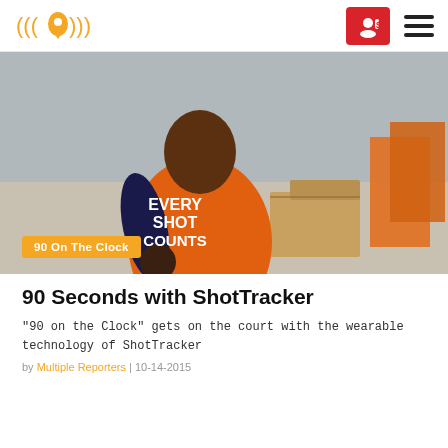90 On The Clock - logo header with navigation icons
[Figure (photo): Man wearing an orange 'EVERY SHOT COUNTS' t-shirt and a dark compression sleeve on his arm, seated indoors with cardboard boxes and orange storage lockers in the background. An orange tag overlay reads '90 On The Clock'.]
90 Seconds with ShotTracker
"90 on the Clock" gets on the court with the wearable technology of ShotTracker
by Multiple Reporters | 10-14-2015